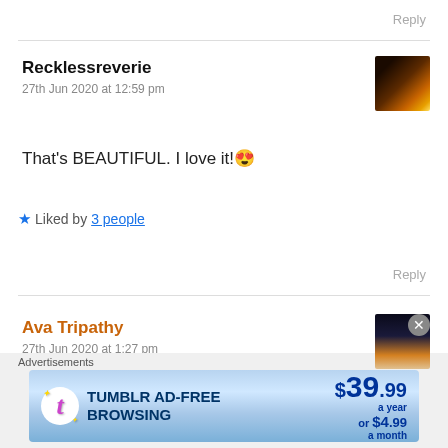Reply
Recklessreverie
27th Jun 2020 at 12:59 pm
That's BEAUTIFUL. I love it! 😍
★ Liked by 3 people
Reply
Ava Tripathy
27th Jun 2020 at 1:27 pm
[Figure (screenshot): Tumblr advertisement banner: TUMBLR AD-FREE BROWSING $39.99 a year or $4.99 a month]